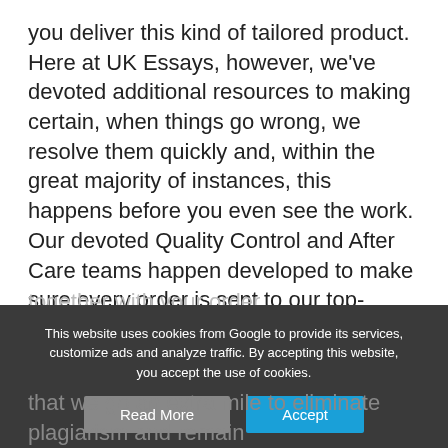you deliver this kind of tailored product. Here at UK Essays, however, we've devoted additional resources to making certain, when things go wrong, we resolve them quickly and, within the great majority of instances, this happens before you even see the work. Our devoted Quality Control and After Care teams happen developed to make sure every order is sent to our top-quality expectations. Our Quality Control team review every good article and our After Care team are waiting to solve any issues or problems you've got
together with your order.
This website uses cookies from Google to provide its services, customize ads and analyze traffic. By accepting this website, you accept the use of cookies.
Read More
Accept
that we go an extra mile to eliminate plagiarism and remain clear of plagiarism. We only issue content that matches your requirements. If we don't reach our objectives...